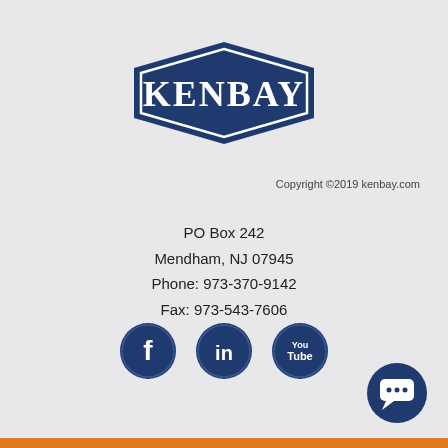[Figure (logo): KenBay company logo — dark navy blue hexagon/diamond shape with white border and white serif text reading KENBAY]
Copyright ©2019 kenbay.com
PO Box 242
Mendham, NJ 07945
Phone: 973-370-9142
Fax: 973-543-7606
[Figure (illustration): Three circular social media icons in navy blue: Facebook (f), LinkedIn (in), YouTube (You Tube)]
[Figure (illustration): Dark navy blue circular chat/support button with white speech bubble icon in bottom right corner]